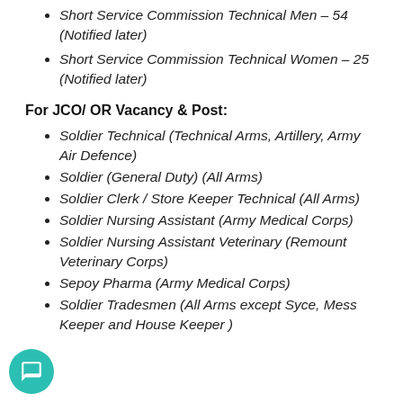Short Service Commission Technical Men – 54 (Notified later)
Short Service Commission Technical Women – 25 (Notified later)
For JCO/ OR Vacancy & Post:
Soldier Technical (Technical Arms, Artillery, Army Air Defence)
Soldier (General Duty) (All Arms)
Soldier Clerk / Store Keeper Technical (All Arms)
Soldier Nursing Assistant (Army Medical Corps)
Soldier Nursing Assistant Veterinary (Remount Veterinary Corps)
Sepoy Pharma (Army Medical Corps)
Soldier Tradesmen (All Arms except Syce, Mess Keeper and House Keeper )